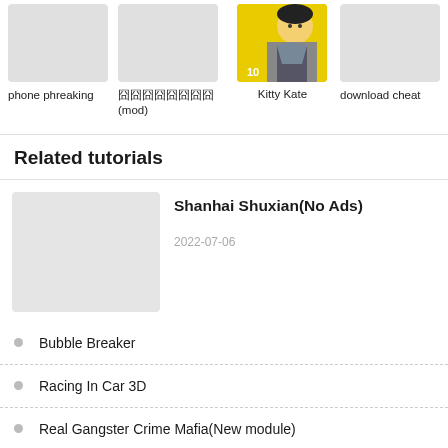[Figure (screenshot): App thumbnail placeholder - phone phreaking]
phone phreaking
[Figure (screenshot): App thumbnail placeholder - Chinese text app (mod)]
囧囧囧囧囧囧囧囧(mod)
[Figure (screenshot): Kitty Kate app thumbnail with yellow background and anime character]
Kitty Kate
[Figure (screenshot): App thumbnail placeholder - download cheat]
download cheat
Related tutorials
[Figure (screenshot): Tutorial thumbnail for Shanhai Shuxian(No Ads)]
Shanhai Shuxian(No Ads)
2022-07-06
Bubble Breaker
Racing In Car 3D
Real Gangster Crime Mafia(New module)